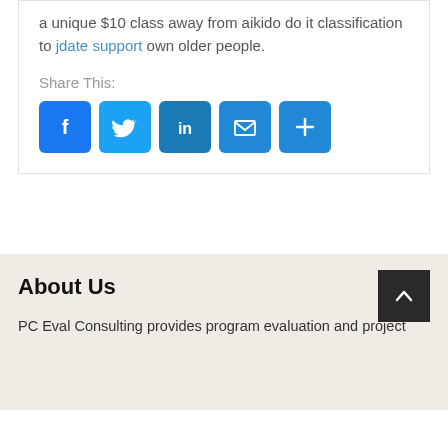a unique $10 class away from aikido do it classification to jdate support own older people.
Share This:
[Figure (other): Social share buttons: Facebook, Twitter, LinkedIn, Email, More]
About Us
PC Eval Consulting provides program evaluation and project